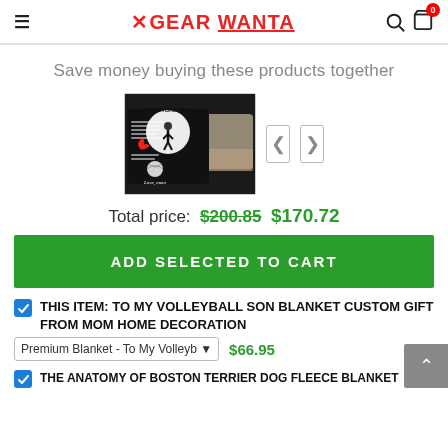≡ ✕GEAR WANTA 🔍 🛍 0
Save money buying these products together
[Figure (photo): Volleyball Son blanket product image shown on a couch]
Total price: $200.85  $170.72
ADD SELECTED TO CART
THIS ITEM: TO MY VOLLEYBALL SON BLANKET CUSTOM GIFT FROM MOM HOME DECORATION
Premium Blanket - To My Volleyb...  $66.95
THE ANATOMY OF BOSTON TERRIER DOG FLEECE BLANKET